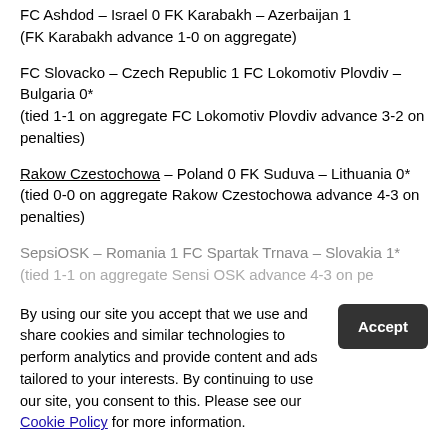FC Ashdod – Israel 0 FK Karabakh – Azerbaijan 1 (FK Karabakh advance 1-0 on aggregate)
FC Slovacko – Czech Republic 1 FC Lokomotiv Plovdiv – Bulgaria 0* (tied 1-1 on aggregate FC Lokomotiv Plovdiv advance 3-2 on penalties)
Rakow Czestochowa – Poland 0 FK Suduva – Lithuania 0* (tied 0-0 on aggregate Rakow Czestochowa advance 4-3 on penalties)
SepsiOSK – Romania 1 FC Spartak Trnava – Slovakia 1* (tied 1-1 on aggregate Sensi OSK advance 4-3 on penalties)
Rosenborg – Norway 4 FH Hafnarfjardur – Iceland 1 (Rosenborg advance 6-1 on aggregate)
FC Torpedo-BelAZ Zhodino – Belarus 0 FC Copenhagen –
By using our site you accept that we use and share cookies and similar technologies to perform analytics and provide content and ads tailored to your interests. By continuing to use our site, you consent to this. Please see our Cookie Policy for more information.